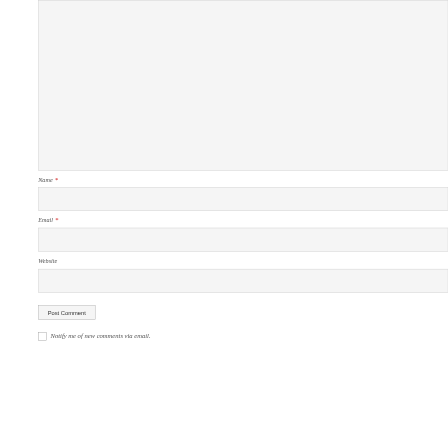[Figure (screenshot): Web form showing a comment text area (partially visible at top), followed by Name (required), Email (required), Website input fields, a Post Comment button, and a Notify me of new comments via email checkbox.]
Name *
Email *
Website
Post Comment
Notify me of new comments via email.